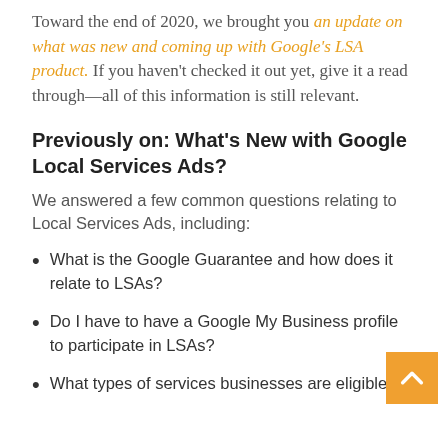Toward the end of 2020, we brought you an update on what was new and coming up with Google's LSA product. If you haven't checked it out yet, give it a read through—all of this information is still relevant.
Previously on: What's New with Google Local Services Ads?
We answered a few common questions relating to Local Services Ads, including:
What is the Google Guarantee and how does it relate to LSAs?
Do I have to have a Google My Business profile to participate in LSAs?
What types of services businesses are eligible...